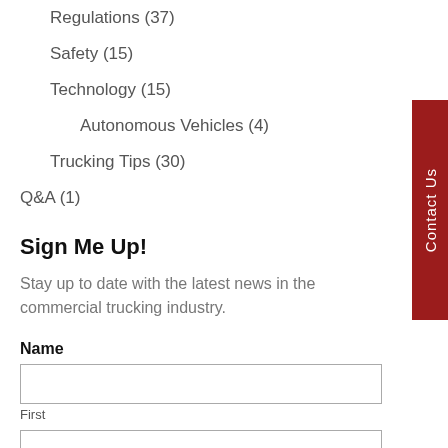Regulations (37)
Safety (15)
Technology (15)
Autonomous Vehicles (4)
Trucking Tips (30)
Q&A (1)
Sign Me Up!
Stay up to date with the latest news in the commercial trucking industry.
Name
First